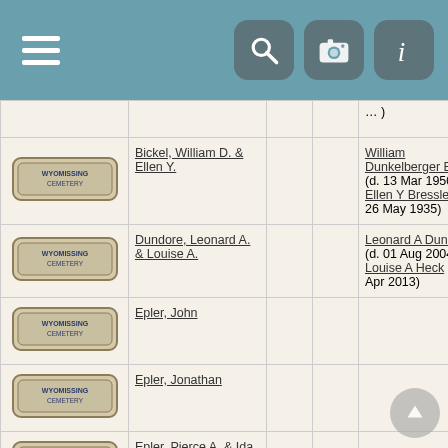Navigation bar with hamburger menu and icons for search, camera, and info
| Image | Name |  |  | People |
| --- | --- | --- | --- | --- |
| [Wyomissing Cemetery] | Bickel, William D. & Ellen Y. |  |  | William Dunkelberger Bickel (d. 13 Mar 1950) Ellen Y Bressler (d. 26 May 1935) |
| [Wyomissing Cemetery] | Dundore, Leonard A. & Louise A. |  |  | Leonard A Dundore (d. 01 Aug 2004) Louise A Heck (d. 16 Apr 2013) |
| [Wyomissing Cemetery] | Epler, John |  |  |  |
| [Wyomissing Cemetery] | Epler, Jonathan |  |  |  |
| [Wyomissing Cemetery] | Epler, Pierce A. & Ida (Maurer) |  |  |  |
| [Wyomissing Cemetery] | Fichthorn, Eliza and son Henry H. |  |  | Henry H Fichthorn (d. 29 |